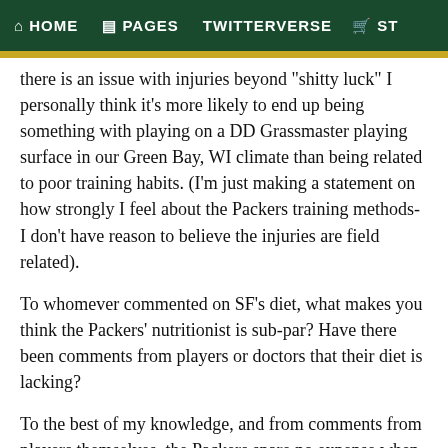HOME  PAGES  TWITTERVERSE  ST
there is an issue with injuries beyond "shitty luck" I personally think it’s more likely to end up being something with playing on a DD Grassmaster playing surface in our Green Bay, WI climate than being related to poor training habits. (I’m just making a statement on how strongly I feel about the Packers training methods- I don’t have reason to believe the injuries are field related).
To whomever commented on SF’s diet, what makes you think the Packers’ nutritionist is sub-par? Have there been comments from players or doctors that their diet is lacking?
To the best of my knowledge, and from comments from players themselves, the Packers spare no expense when it comes to the health, training, and general maintenance of their players. This extends to training equipment and resources, player health programs, etc and so forth.